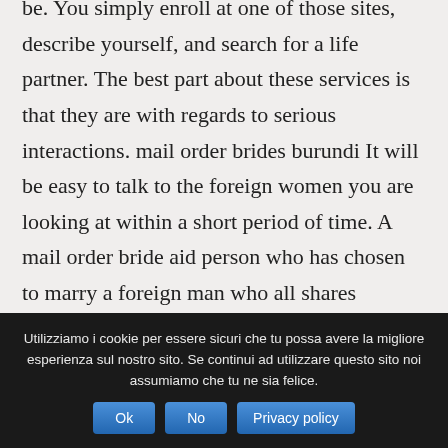be. You simply enroll at one of those sites, describe yourself, and search for a life partner. The best part about these services is that they are with regards to serious interactions. mail order brides burundi It will be easy to talk to the foreign women you are looking at within a short period of time. A mail order bride aid person who has chosen to marry a foreign man who all shares precisely the same ideals just as you do.
Utilizziamo i cookie per essere sicuri che tu possa avere la migliore esperienza sul nostro sito. Se continui ad utilizzare questo sito noi assumiamo che tu ne sia felice.